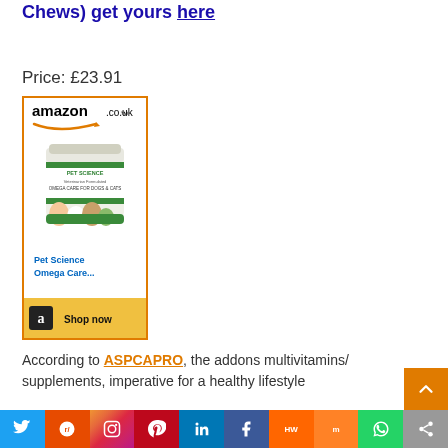Chews) get yours here
Price: £23.91
[Figure (screenshot): Amazon.co.uk product listing widget showing Pet Science Omega Care supplement jar with pets on label, with Shop now button]
According to ASPCAPRO, the addons multivitamins/ supplements, imperative for a healthy lifestyle...
Twitter, Reddit, Instagram, Pinterest, LinkedIn, Facebook, RW, Mix, WhatsApp, Share social share bar